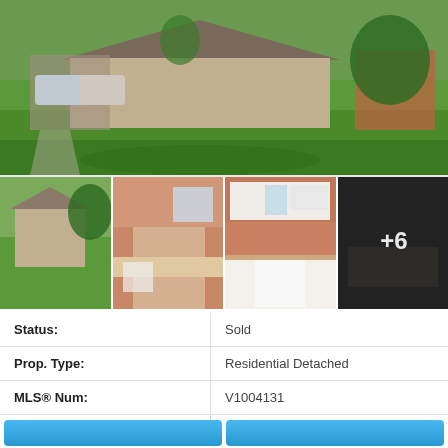[Figure (photo): Main exterior photo of a ranch-style residential home with large green lawn, carport with vehicles, and trees/shrubs. Panoramic wide shot.]
[Figure (photo): Thumbnail 1: Side exterior view of the same residential home with green lawn and trees.]
[Figure (photo): Thumbnail 2: Interior kitchen/dining area with salmon/terracotta colored walls, white appliances, and wood flooring.]
[Figure (photo): Thumbnail 3: Interior kitchen view with white cabinets, salmon-colored upper cabinets, white stove and microwave.]
[Figure (photo): Thumbnail 4: Dark interior room photo with '+6' overlay indicating 6 more photos available.]
| Field | Value |
| --- | --- |
| Status: | Sold |
| Prop. Type: | Residential Detached |
| MLS® Num: | V1004131 |
| Bedrooms: | 5 |
| Bathrooms: | 3 |
| Year Built: | 1972 |